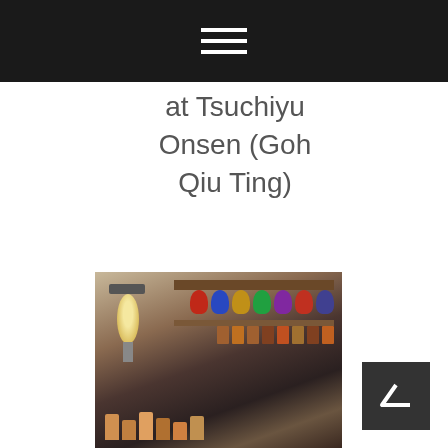at Tsuchiyu Onsen (Goh Qiu Ting)
[Figure (photo): Photo of local crafts and daruma dolls on a shelf at Ouchi-juku, with a paper lantern on the left]
Local crafts on sale at Ouchi-juku (Goh Qiu Ting)
[Figure (photo): Interior of a traditional wooden building showing wooden beams and signage]
[Figure (other): Back to top arrow button]